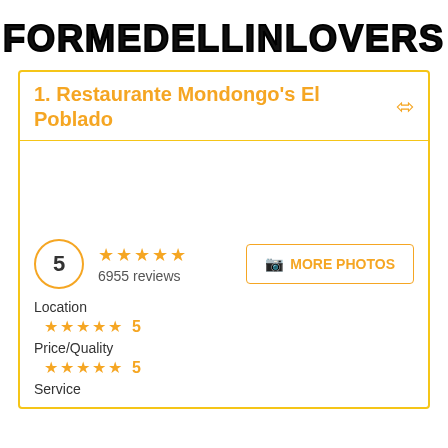FORMEDELLINLOVERS
1. Restaurante Mondongo's El Poblado
5  ★★★★★  6955 reviews  MORE PHOTOS
Location  ★★★★★  5
Price/Quality  ★★★★★  5
Service